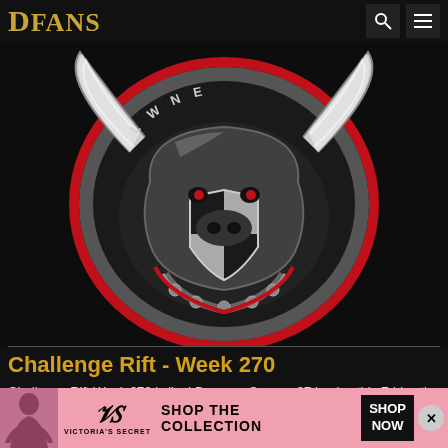DFANS
[Figure (illustration): Gaming team logo — a bull/minotaur mascot with horns, shield design in black, white, and red on dark background. Text arc at top reads 'LORNE' or similar.]
Challenge Rift - Week 270
Challenge Rift Week 270 is live! Because Season 27 begins this Friday the Challenge Rift will be unavailable until after the
[Figure (other): Victoria's Secret advertisement banner: model photo on left, VS ornament logo, text 'SHOP THE COLLECTION', black CTA button 'SHOP NOW', close X button on right.]